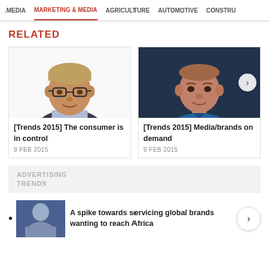MEDIA | MARKETING & MEDIA | AGRICULTURE | AUTOMOTIVE | CONSTRU
RELATED
[Figure (photo): Portrait of a man with glasses in a dark suit, white background]
[Trends 2015] The consumer is in control
9 FEB 2015
[Figure (photo): Portrait of a bald man in a blue shirt against a dark background]
[Trends 2015] Media/brands on demand
9 FEB 2015
[Figure (other): Grey ad banner reading ADVERTISING TRENDS]
A spike towards servicing global brands wanting to reach Africa